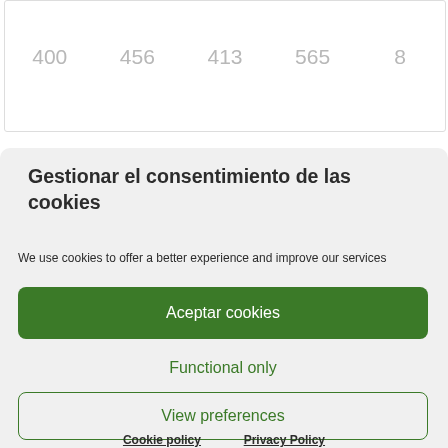| 400 | 456 | 413 | 565 | 8 |
Gestionar el consentimiento de las cookies
We use cookies to offer a better experience and improve our services
Aceptar cookies
Functional only
View preferences
Cookie policy   Privacy Policy